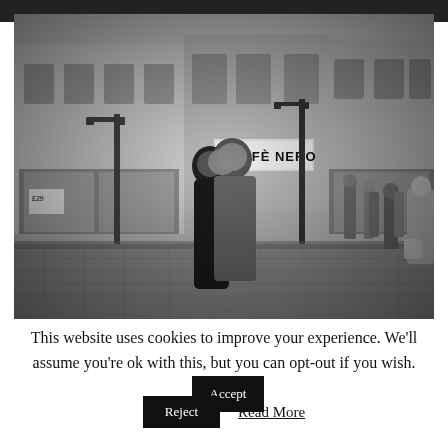[Figure (photo): Black and white street photograph of a couple embracing on a cobblestone street in a UK town centre, with shops including Caffè Nero visible in the background and pedestrians walking past.]
This website uses cookies to improve your experience. We'll assume you're ok with this, but you can opt-out if you wish.
Accept
Reject
Read More